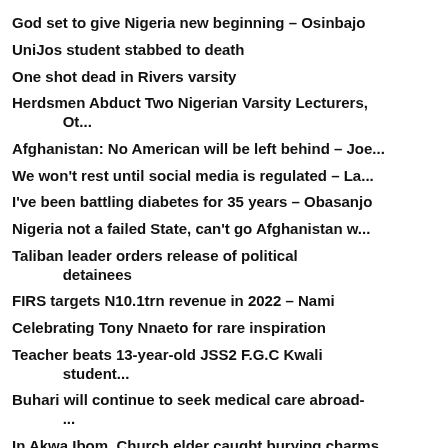God set to give Nigeria new beginning – Osinbajo
UniJos student stabbed to death
One shot dead in Rivers varsity
Herdsmen Abduct Two Nigerian Varsity Lecturers, Ot...
Afghanistan: No American will be left behind – Joe...
We won't rest until social media is regulated – La...
I've been battling diabetes for 35 years – Obasanjo
Nigeria not a failed State, can't go Afghanistan w...
Taliban leader orders release of political detainees
FIRS targets N10.1trn revenue in 2022 – Nami
Celebrating Tony Nnaeto for rare inspiration
Teacher beats 13-year-old JSS2 F.G.C Kwali student...
Buhari will continue to seek medical care abroad-...
In Akwa Ibom, Church elder caught burying charms